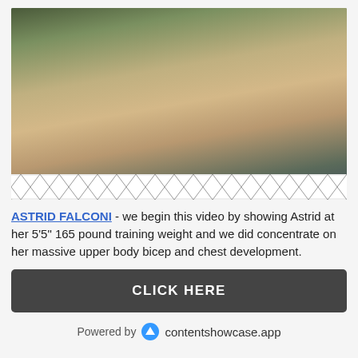[Figure (photo): A muscular blonde woman in a colorful swimsuit sitting by a pool, posing and showing her physique.]
ASTRID FALCONI - we begin this video by showing Astrid at her 5'5" 165 pound training weight and we did concentrate on her massive upper body bicep and chest development.
CLICK HERE
Powered by contentshowcase.app